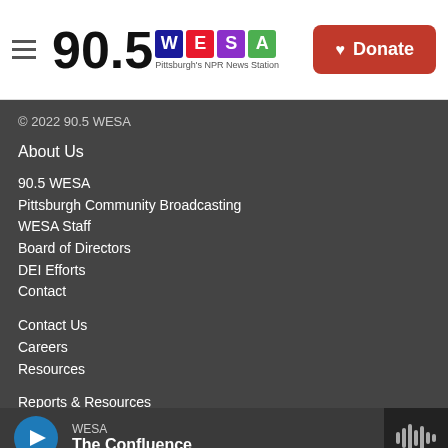90.5 WESA — Pittsburgh's NPR News Station | Donate
© 2022 90.5 WESA
About Us
90.5 WESA
Pittsburgh Community Broadcasting
WESA Staff
Board of Directors
DEI Efforts
Contact
Contact Us
Careers
Resources
Reports & Resources
Public Files
Privacy & Terms of Use
COVID-19
FCC Applications
WESA — The Confluence